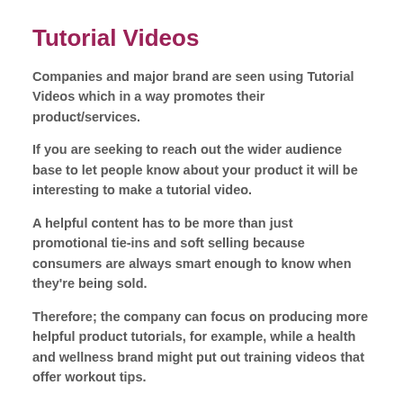Tutorial Videos
Companies and major brand are seen using Tutorial Videos which in a way promotes their product/services.
If you are seeking to reach out the wider audience base to let people know about your product it will be interesting to make a tutorial video.
A helpful content has to be more than just promotional tie-ins and soft selling because consumers are always smart enough to know when they're being sold.
Therefore; the company can focus on producing more helpful product tutorials, for example, while a health and wellness brand might put out training videos that offer workout tips.